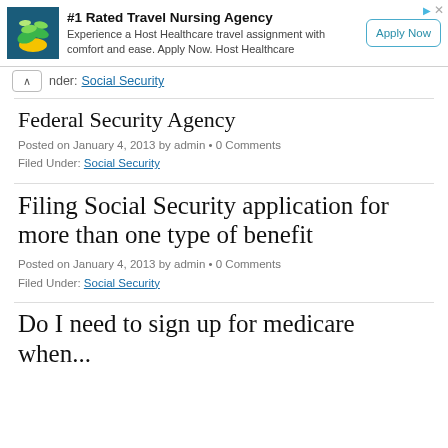[Figure (screenshot): Advertisement banner for Host Healthcare: #1 Rated Travel Nursing Agency with logo, description text, and Apply Now button]
nder: Social Security
Federal Security Agency
Posted on January 4, 2013 by admin • 0 Comments
Filed Under: Social Security
Filing Social Security application for more than one type of benefit
Posted on January 4, 2013 by admin • 0 Comments
Filed Under: Social Security
Do I need to sign up for medicare when...